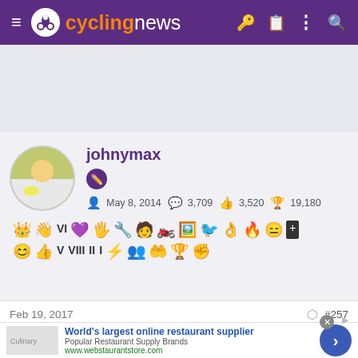cyclingnews
[Figure (screenshot): Cycling news user profile card for johnymax showing avatar, badges, join date May 8 2014, 3,709 posts, 3,520 likes, 19,180 points, and many achievement badge icons]
Feb 19, 2017  #257
[Figure (screenshot): Advertisement banner: World's largest online restaurant supplier - Popular Restaurant Supply Brands - www.webstaurantstore.com with a blue CTA arrow button]